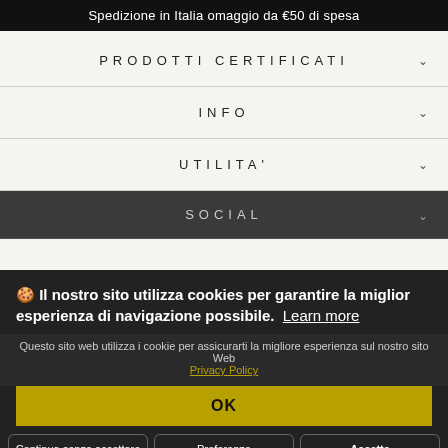Spedizione in Italia omaggio da €50 di spesa
PRODOTTI CERTIFICATI
INFO
UTILITA'
SOCIAL
🍪 Il nostro sito utilizza cookies per garantire la miglior esperienza di navigazione possibile. Learn more
Questo sito web utilizza i cookie per assicurarti la migliore esperienza sul nostro sito Web
Privacy Policy
OK
Continua senza accettare
Preferenze
Accetta